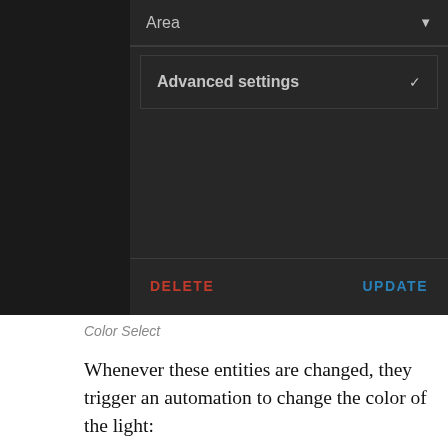[Figure (screenshot): Dark-themed UI panel showing 'Area' dropdown row, 'Advanced settings' collapsible row, and action buttons DELETE (red) and UPDATE (blue) at the bottom.]
Color Select
Whenever these entities are changed, they trigger an automation to change the color of the light:
alias: Change string light colors
description: ''
trigger:
  - platform: state
    entity_id: input_select.color_1